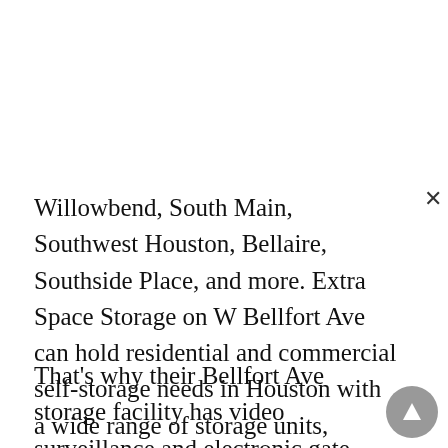Willowbend, South Main, Southwest Houston, Bellaire, Southside Place, and more. Extra Space Storage on W Bellfort Ave can hold residential and commercial self-storage needs in Houston with a wide range of storage units, climate-controlled storage, and exceptional security. At Extra Space Storage, they care about providing a safe environment for customers.
That's why their Bellfort Ave storage facility has video surveillance and electronic gate access. At Extra Space Storage, they believe their customers deserve the bes... That's why they maintain a clean, secure facility at all